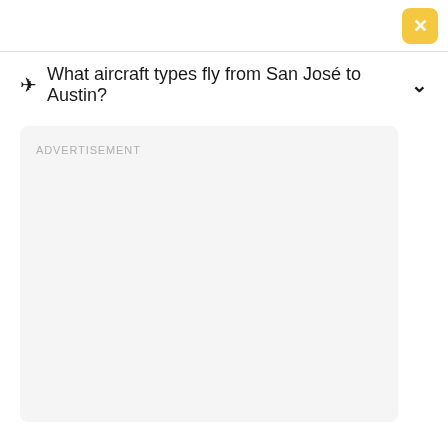[Figure (screenshot): Top bar with yellow/gold close button (X) in top right corner]
✈ What aircraft types fly from San José to Austin? ∨
ADVERTISEMENT